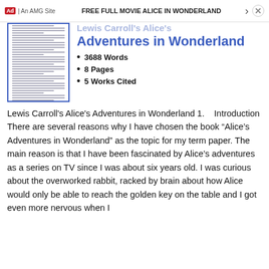FREE FULL MOVIE ALICE IN WONDERLAND
Lewis Carroll's Alice's Adventures in Wonderland
3688 Words
8 Pages
5 Works Cited
Lewis Carroll's Alice's Adventures in Wonderland 1. Introduction There are several reasons why I have chosen the book “Alice’s Adventures in Wonderland” as the topic for my term paper. The main reason is that I have been fascinated by Alice’s adventures as a series on TV since I was about six years old. I was curious about the overworked rabbit, racked by brain about how Alice would only be able to reach the golden key on the table and I got even more nervous when I